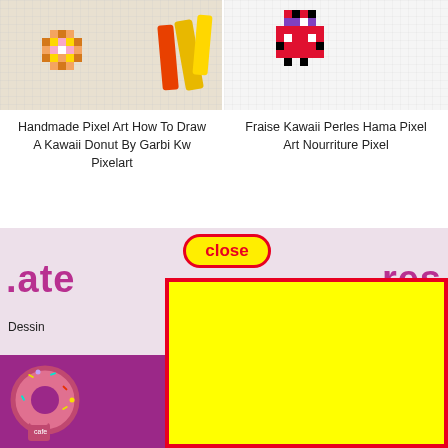[Figure (photo): Pixel art kawaii donut drawing on grid paper with colored markers/crayons, top-left image]
[Figure (photo): Pixel art kawaii strawberry (Fraise) on grid paper in red/pink/black/white pixel style, top-right image]
Handmade Pixel Art How To Draw A Kawaii Donut By Garbi Kw Pixelart
Fraise Kawaii Perles Hama Pixel Art Nourriture Pixel
[Figure (screenshot): Website content below showing partial category text 'ate' on left and 'res' on right in pink, with partial caption text 'Dessin' and 'Kawaii', plus bottom row of images with purple kawaii donut illustration and grid paper photo]
[Figure (other): Close button UI element with red border rounded rectangle and yellow background, text 'close' in red]
[Figure (other): Large yellow rectangle with red border overlaying the page as an advertisement or popup blocker]